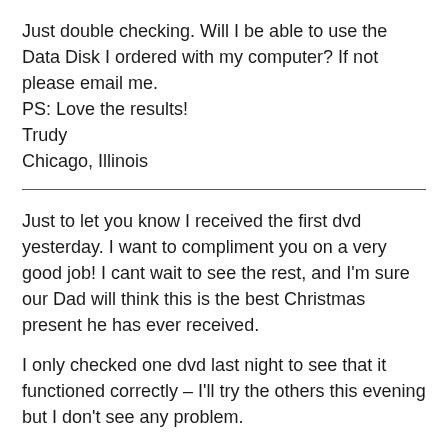Just double checking. Will I be able to use the Data Disk I ordered with my computer? If not please email me.
PS: Love the results!
Trudy
Chicago, Illinois
Just to let you know I received the first dvd yesterday. I want to compliment you on a very good job! I cant wait to see the rest, and I'm sure our Dad will think this is the best Christmas present he has ever received.
I only checked one dvd last night to see that it functioned correctly – I'll try the others this evening but I don't see any problem.
Last, do you transfer 8MM camcorder tapes onto dvd? I have a dvd burner but it only works on my newer digital 8 tapes. I have close to 20 tapes from